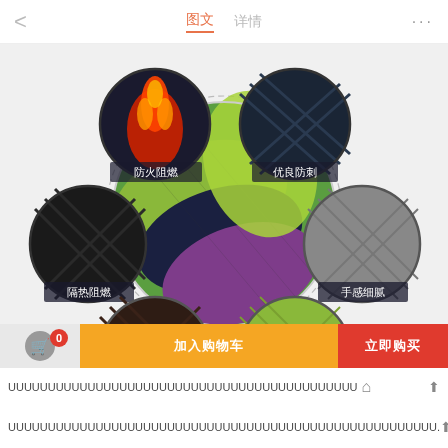图文 详情
[Figure (infographic): Product feature infographic showing fabric material with six circular inset photos arranged around a central large circle. Top-left circle: fire/flame image labeled 防火阻燃 (fire retardant). Top-right circle: dark mesh fabric labeled 优良防刺 (excellent stab-resistant). Left circle: dark textured fabric labeled 隔热阻燃 (heat insulation flame retardant). Right circle: gray diamond-pattern fabric labeled 手感细腻 (fine hand feel). Bottom-left circle: dark brown fabric labeled 防水耐磨 (waterproof and wear-resistant). Bottom-right circle: yellow-green fabric labeled 多纹细柔 (multi-texture soft). Center large circle shows rolled fabric in green, navy and purple colors.]
加入购物车
立即购买
UUUUUUUUUUUUUUUUUUUUUUUUUUUUUUUUUUUUUUUUUUUU
UUUUUUUUUUUUUUUUUUUUUUUUUUUUUUUUUUUUUUUUUUUUUUUUUUUUUU.